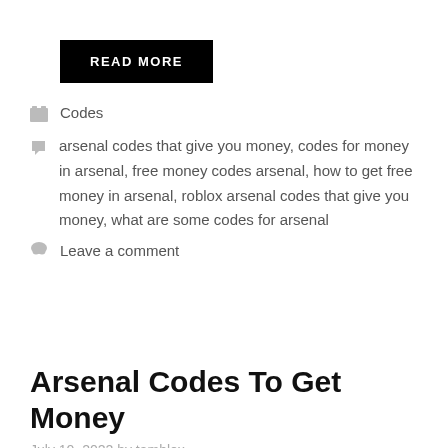READ MORE
Codes
arsenal codes that give you money, codes for money in arsenal, free money codes arsenal, how to get free money in arsenal, roblox arsenal codes that give you money, what are some codes for arsenal
Leave a comment
Arsenal Codes To Get Money
July 10, 2022 by tamblox